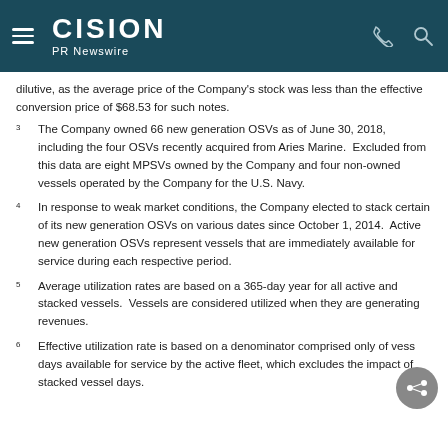CISION PR Newswire
dilutive, as the average price of the Company's stock was less than the effective conversion price of $68.53 for such notes.
3 The Company owned 66 new generation OSVs as of June 30, 2018, including the four OSVs recently acquired from Aries Marine. Excluded from this data are eight MPSVs owned by the Company and four non-owned vessels operated by the Company for the U.S. Navy.
4 In response to weak market conditions, the Company elected to stack certain of its new generation OSVs on various dates since October 1, 2014. Active new generation OSVs represent vessels that are immediately available for service during each respective period.
5 Average utilization rates are based on a 365-day year for all active and stacked vessels. Vessels are considered utilized when they are generating revenues.
6 Effective utilization rate is based on a denominator comprised only of vessel days available for service by the active fleet, which excludes the impact of stacked vessel days.